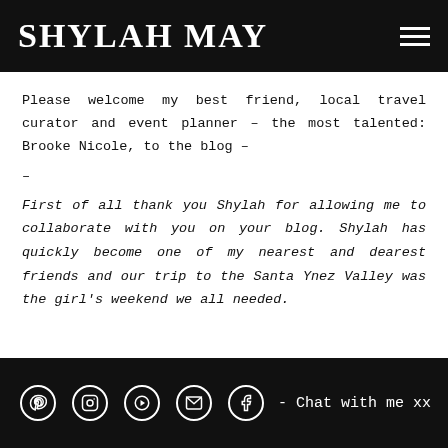SHYLAH MAY
Please welcome my best friend, local travel curator and event planner – the most talented: Brooke Nicole, to the blog –
–
First of all thank you Shylah for allowing me to collaborate with you on your blog. Shylah has quickly become one of my nearest and dearest friends and our trip to the Santa Ynez Valley was the girl's weekend we all needed.
- Chat with me xx